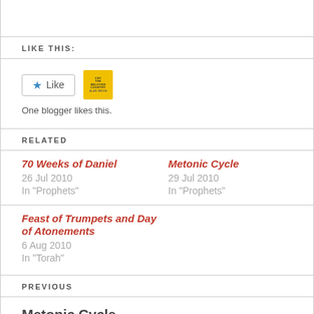LIKE THIS:
[Figure (other): Like button with blue star and Like text, next to a yellow blogger avatar thumbnail]
One blogger likes this.
RELATED
70 Weeks of Daniel
26 Jul 2010
In "Prophets"
Metonic Cycle
29 Jul 2010
In "Prophets"
Feast of Trumpets and Day of Atonements
6 Aug 2010
In "Torah"
PREVIOUS
Metonic Cycle